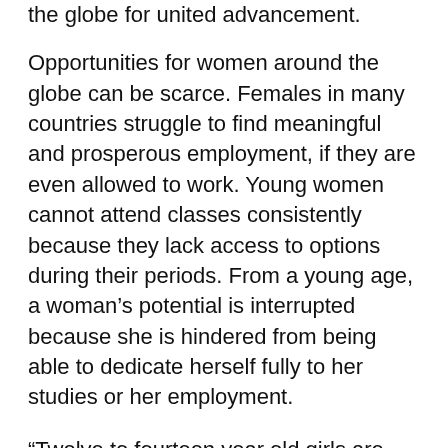the globe for united advancement.
Opportunities for women around the globe can be scarce. Females in many countries struggle to find meaningful and prosperous employment, if they are even allowed to work. Young women cannot attend classes consistently because they lack access to options during their periods. From a young age, a woman's potential is interrupted because she is hindered from being able to dedicate herself fully to her studies or her employment.
“Twelve to fourteen year old girls are seen as ready for marriage and childbearing when they stay home from school repetitively due to lack of sanitary supplies,” says Christina Norman, founder of You & Her in Vancouver, B.C. The profits from her company provide underwear to girls in Africa who are past puberty in order to help them stay in school. This opportunity for